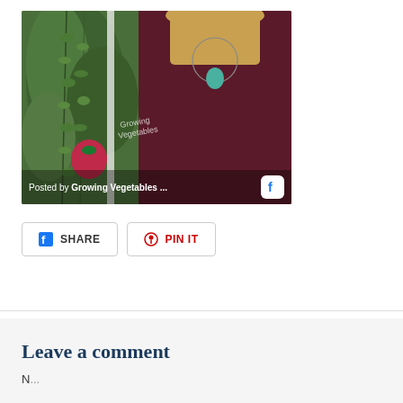[Figure (photo): Woman with blonde hair wearing dark maroon top and teal heart pendant necklace, standing next to hanging green plants. Overlay text reads 'Posted by Growing Vegetables ...' with Facebook icon.]
SHARE
PIN IT
Leave a comment
N...